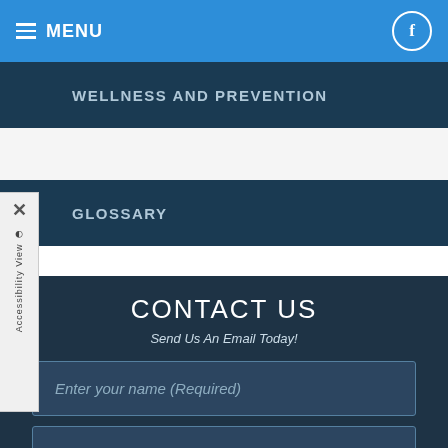MENU
WELLNESS AND PREVENTION
GLOSSARY
CONTACT US
Send Us An Email Today!
Enter your name (Required)
Enter email (Required)
(XXX)XXX-XXXX (Required)